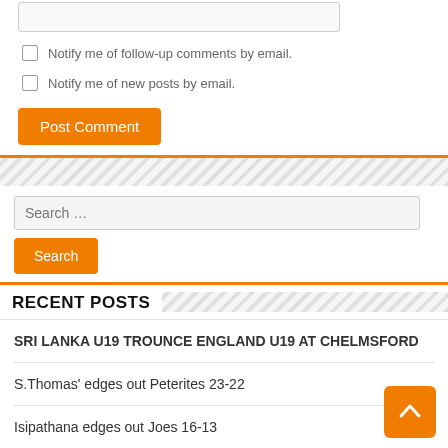Notify me of follow-up comments by email.
Notify me of new posts by email.
Post Comment
Search …
Search
RECENT POSTS
SRI LANKA U19 TROUNCE ENGLAND U19 AT CHELMSFORD
S.Thomas' edges out Peterites 23-22
Isipathana edges out Joes 16-13
Somaratne's 3 try blitz enable Royal beat Wesley 21-16